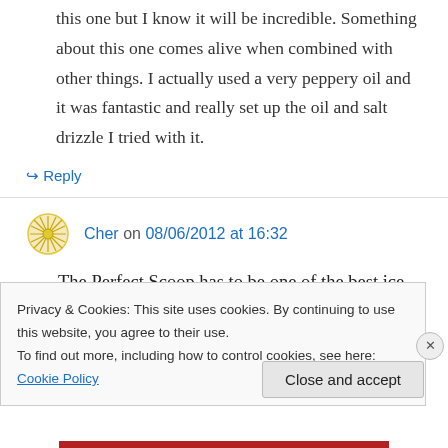this one but I know it will be incredible. Something about this one comes alive when combined with other things. I actually used a very peppery oil and it was fantastic and really set up the oil and salt drizzle I tried with it.
↳ Reply
Cher on 08/06/2012 at 16:32
The Perfect Scoop has to be one of the best ice
Privacy & Cookies: This site uses cookies. By continuing to use this website, you agree to their use.
To find out more, including how to control cookies, see here: Cookie Policy
Close and accept